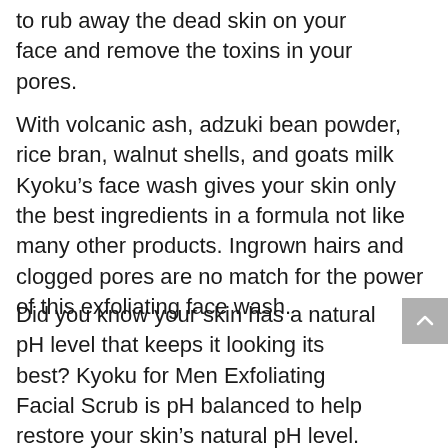to rub away the dead skin on your face and remove the toxins in your pores.
With volcanic ash, adzuki bean powder, rice bran, walnut shells, and goats milk Kyoku’s face wash gives your skin only the best ingredients in a formula not like many other products. Ingrown hairs and clogged pores are no match for the power of this exfoliating face wash.
Did you know your skin has a natural pH level that keeps it looking its best? Kyoku for Men Exfoliating Facial Scrub is pH balanced to help restore your skin’s natural pH level.